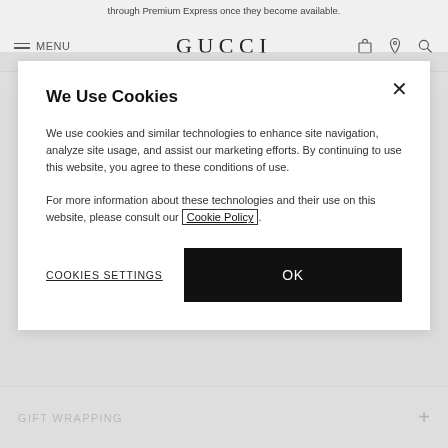through Premium Express once they become available.
MENU   GUCCI
We Use Cookies
We use cookies and similar technologies to enhance site navigation, analyze site usage, and assist our marketing efforts. By continuing to use this website, you agree to these conditions of use.
For more information about these technologies and their use on this website, please consult our Cookie Policy.
COOKIES SETTINGS
OK
GIFT WRAPPING